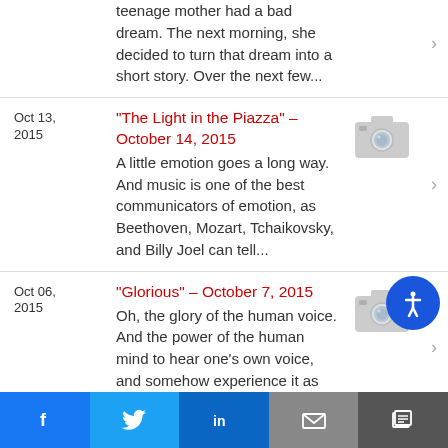teenage mother had a bad dream. The next morning, she decided to turn that dream into a short story. Over the next few...
Oct 13, 2015 | "The Light in the Piazza" – October 14, 2015 | A little emotion goes a long way. And music is one of the best communicators of emotion, as Beethoven, Mozart, Tchaikovsky, and Billy Joel can tell...
Oct 06, 2015 | "Glorious" – October 7, 2015 | Oh, the glory of the human voice. And the power of the human mind to hear one's own voice, and somehow experience it as beautiful when to other's...